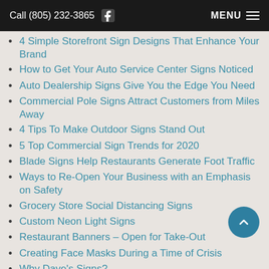Call (805) 232-3865  MENU
4 Simple Storefront Sign Designs That Enhance Your Brand
How to Get Your Auto Service Center Signs Noticed
Auto Dealership Signs Give You the Edge You Need
Commercial Pole Signs Attract Customers from Miles Away
4 Tips To Make Outdoor Signs Stand Out
5 Top Commercial Sign Trends for 2020
Blade Signs Help Restaurants Generate Foot Traffic
Ways to Re-Open Your Business with an Emphasis on Safety
Grocery Store Social Distancing Signs
Custom Neon Light Signs
Restaurant Banners – Open for Take-Out
Creating Face Masks During a Time of Crisis
Why Dave's Signs?